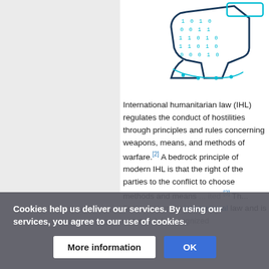[Figure (illustration): A stylized illustration of a circuit board or digital gun/weapon shape with binary code (0s and 1s) depicted in teal/cyan color on a dark navy background, partially visible at top right of page.]
International humanitarian law (IHL) regulates the conduct of hostilities through principles and rules concerning weapons, means, and methods of warfare.[2] A bedrock principle of modern IHL is that the right of the parties to the conflict to choose methods and means ... [3] This ... reflects customary international law and is one of ... widely recognized ...
Cookies help us deliver our services. By using our services, you agree to our use of cookies.